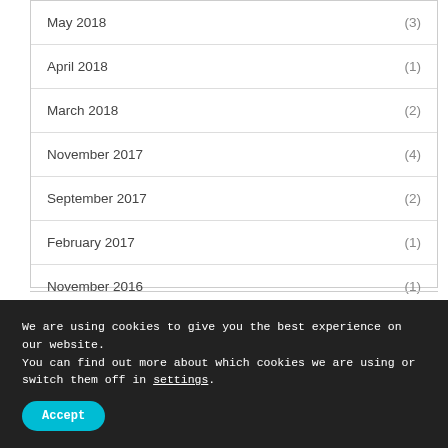May 2018 (3)
April 2018 (1)
March 2018 (2)
November 2017 (4)
September 2017 (2)
February 2017 (1)
November 2016 (1)
We are using cookies to give you the best experience on our website.
You can find out more about which cookies we are using or switch them off in settings.
Accept